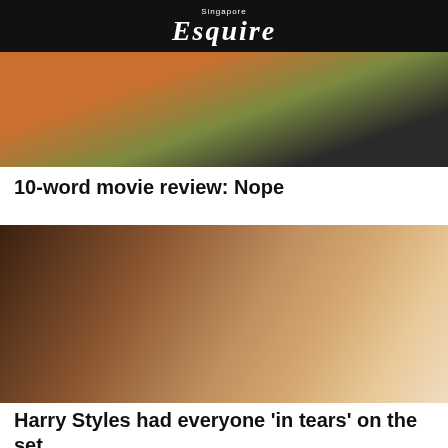Singapore
Esquire
[Figure (photo): A scene from the movie Nope showing figures in orange and green clothing outdoors]
10-word movie review: Nope
[Figure (photo): Two people lying close together on a bed, a man and a woman with blonde hair, appearing to be from the movie Don't Worry Darling]
Harry Styles had everyone 'in tears' on the set of Don't Worry Darling